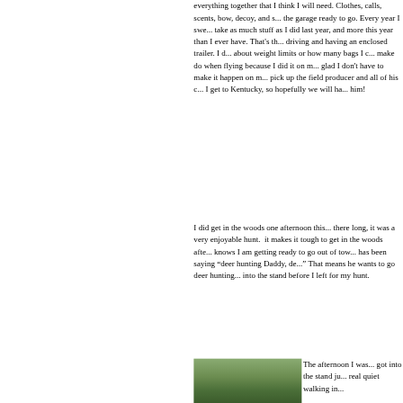everything together that I think I will need. Clothes, calls, scents, bow, decoy, and s... the garage ready to go. Every year I swe... take as much stuff as I did last year, and more this year than I ever have. That's th... driving and having an enclosed trailer. I d... about weight limits or how many bags I c... make do when flying because I did it on m... glad I don't have to make it happen on m... pick up the field producer and all of his c... I get to Kentucky, so hopefully we will ha... him!
I did get in the woods one afternoon this... there long, it was a very enjoyable hunt. it makes it tough to get in the woods afte... knows I am getting ready to go out of tow... has been saying "deer hunting Daddy, de..." That means he wants to go deer hunting... into the stand before I left for my hunt.
[Figure (photo): Photo of a hunter in camouflage in a tree stand, with a field and tree line visible in the background.]
The afternoon I was... got into the stand ju... real quiet walking in...